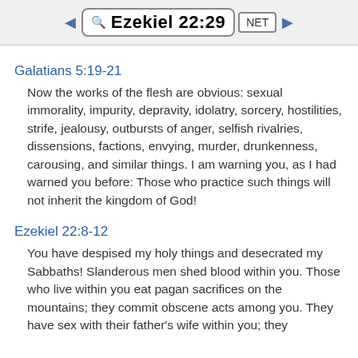Ezekiel 22:29 | NET
Galatians 5:19-21
Now the works of the flesh are obvious: sexual immorality, impurity, depravity, idolatry, sorcery, hostilities, strife, jealousy, outbursts of anger, selfish rivalries, dissensions, factions, envying, murder, drunkenness, carousing, and similar things. I am warning you, as I had warned you before: Those who practice such things will not inherit the kingdom of God!
Ezekiel 22:8-12
You have despised my holy things and desecrated my Sabbaths! Slanderous men shed blood within you. Those who live within you eat pagan sacrifices on the mountains; they commit obscene acts among you. They have sex with their father's wife within you; they violate women during their menstrual period within you.